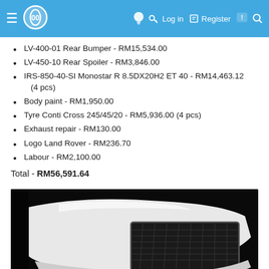Navigation bar with logo, light bulb icon, key icon, Log in, Register, message icon, search icon
LV-400-01 Rear Bumper - RM15,534.00
LV-450-10 Rear Spoiler - RM3,846.00
IRS-850-40-SI Monostar R 8.5DX20H2 ET 40 - RM14,463.12 (4 pcs)
Body paint - RM1,950.00
Tyre Conti Cross 245/45/20 - RM5,936.00 (4 pcs)
Exhaust repair - RM130.00
Logo Land Rover - RM236.70
Labour - RM2,100.00
Total - RM56,591.64
[Figure (photo): Front grille and bumper area of a white Land Rover SUV photographed against a dark background]